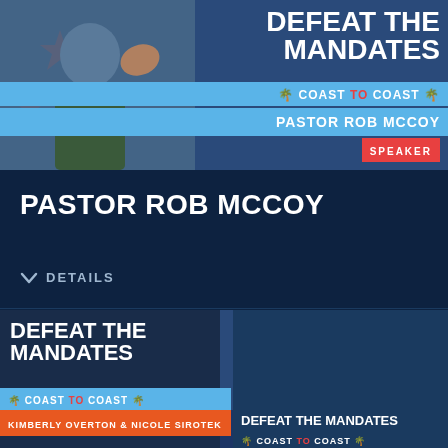[Figure (photo): Event promotional banner for 'Defeat The Mandates Coast To Coast' featuring Pastor Rob McCoy as speaker. Shows a man in a green sweater raising his hand at a podium, with red stars in the background. Text overlay includes event title, speaker name, and 'SPEAKER' badge.]
PASTOR ROB MCCOY
DETAILS
[Figure (photo): Event promotional banner for 'Defeat The Mandates Coast To Coast' featuring Kimberly Overton and Nicole Sirotek as speakers. Shows two women at a podium with microphone, star decorations in background. Left panel shows event title text with orange names bar, right panel shows smaller event branding.]